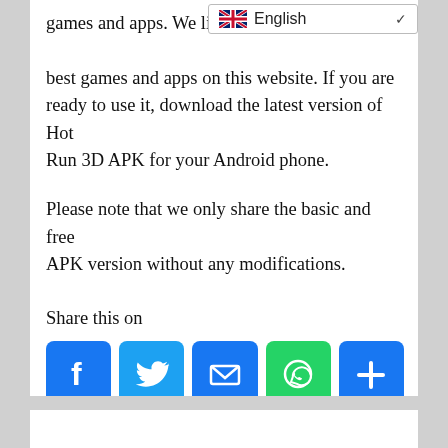games and apps. We like to best games and apps on this website. If you are ready to use it, download the latest version of Hot Run 3D APK for your Android phone.
Please note that we only share the basic and free APK version without any modifications.
Share this on
[Figure (infographic): Social share buttons: Facebook (blue), Twitter (blue), Email (blue), WhatsApp (green), Share/Plus (blue)]